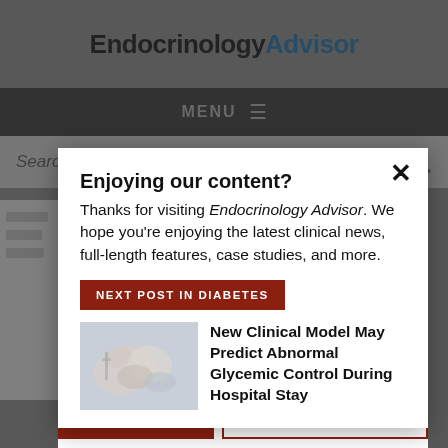EndocrinologyAdvisor
MENU
Search...
Enjoying our content?
Thanks for visiting Endocrinology Advisor. We hope you're enjoying the latest clinical news, full-length features, case studies, and more.
NEXT POST IN DIABETES
[Figure (photo): Medical photo showing hands performing a blood glucose test or injection]
New Clinical Model May Predict Abnormal Glycemic Control During Hospital Stay
LOGIN
REGISTER